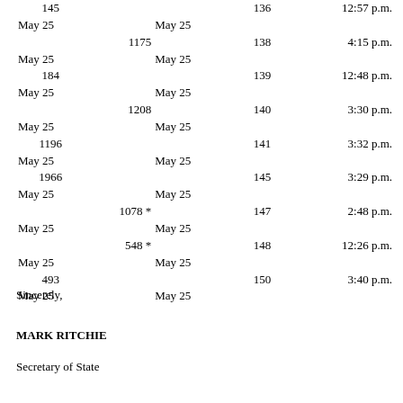|  |  |  |  |  |
| --- | --- | --- | --- | --- |
| 145 |  | 136 |  | 12:57 p.m. |
| May 25 |  | May 25 |  |  |
|  | 1175 |  | 138 | 4:15 p.m. |
| May 25 |  | May 25 |  |  |
| 184 |  |  | 139 | 12:48 p.m. |
| May 25 |  | May 25 |  |  |
|  | 1208 |  | 140 | 3:30 p.m. |
| May 25 |  | May 25 |  |  |
| 1196 |  |  | 141 | 3:32 p.m. |
| May 25 |  | May 25 |  |  |
| 1966 |  |  | 145 | 3:29 p.m. |
| May 25 |  | May 25 |  |  |
|  | 1078 * |  | 147 | 2:48 p.m. |
| May 25 |  | May 25 |  |  |
|  | 548 * |  | 148 | 12:26 p.m. |
| May 25 |  | May 25 |  |  |
| 493 |  |  | 150 | 3:40 p.m. |
| May 25 |  | May 25 |  |  |
Sincerely,
MARK RITCHIE
Secretary of State